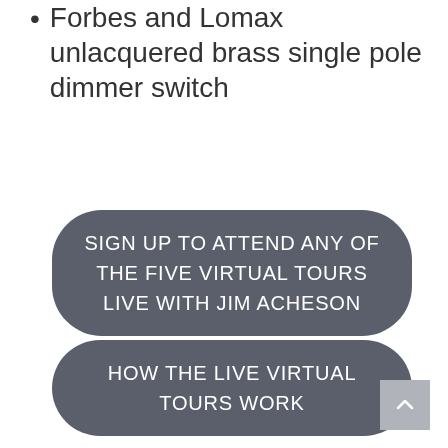Forbes and Lomax unlacquered brass single pole dimmer switch
[Figure (other): Dark grey rounded rectangle button with white text: SIGN UP TO ATTEND ANY OF THE FIVE VIRTUAL TOURS LIVE WITH JIM ACHESON]
[Figure (other): Dark grey rounded rectangle button with white text: HOW THE LIVE VIRTUAL TOURS WORK]
[Figure (other): Grey square back-to-top button with upward chevron arrow]